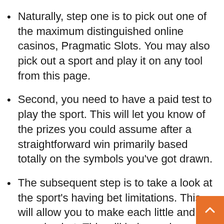Naturally, step one is to pick out one of the maximum distinguished online casinos, Pragmatic Slots. You may also pick out a sport and play it on any tool from this page.
Second, you need to have a paid test to play the sport. This will let you know of the prizes you could assume after a straightforward win primarily based totally on the symbols you’ve got drawn.
The subsequent step is to take a look at the sport’s having bet limitations. This will allow you to make each little and massive bet. This will help you in figuring out the quantity of your deposit to start gambling.
Press the spin button and move your hands